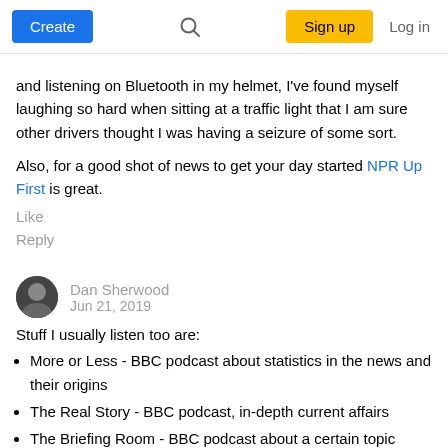Create | Search | Sign up | Log in
and listening on Bluetooth in my helmet, I've found myself laughing so hard when sitting at a traffic light that I am sure other drivers thought I was having a seizure of some sort.
Also, for a good shot of news to get your day started NPR Up First is great.
Like
Reply
Dan Sherwood
Jun 21, 2019
Stuff I usually listen too are:
More or Less - BBC podcast about statistics in the news and their origins
The Real Story - BBC podcast, in-depth current affairs
The Briefing Room - BBC podcast about a certain topic